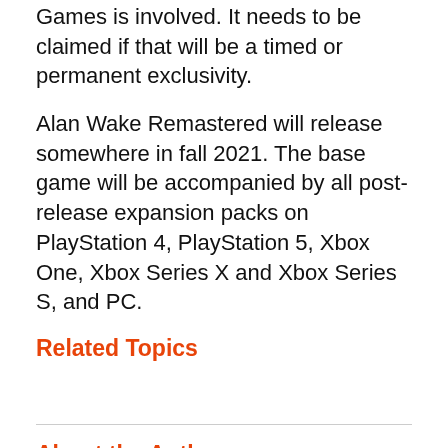Games is involved. It needs to be claimed if that will be a timed or permanent exclusivity.
Alan Wake Remastered will release somewhere in fall 2021. The base game will be accompanied by all post-release expansion packs on PlayStation 4, PlayStation 5, Xbox One, Xbox Series X and Xbox Series S, and PC.
Related Topics
About the Author
[Figure (photo): Circular author avatar photo showing a stylized face resembling Kratos from God of War, grey skin with red markings, black and white tone.]